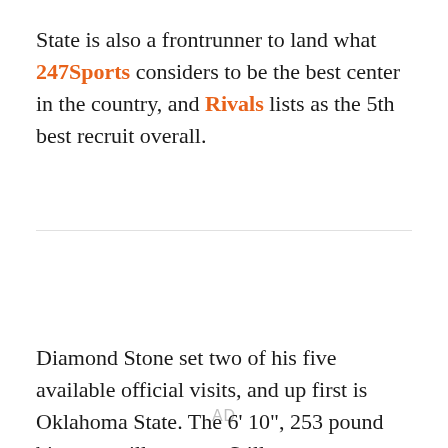State is also a frontrunner to land what 247Sports considers to be the best center in the country, and Rivals lists as the 5th best recruit overall.
[Figure (other): Advertisement placeholder labeled 'AD']
Diamond Stone set two of his five available official visits, and up first is Oklahoma State. The 6' 10", 253 pound big man will come to Stillwater on October 10th,